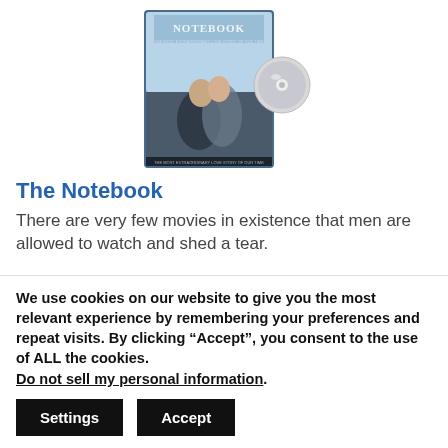[Figure (photo): DVD cover of 'The Notebook' movie showing two people about to kiss, with a DVD disc visible to the right side of the case]
The Notebook
There are very few movies in existence that men are allowed to watch and shed a tear.
We use cookies on our website to give you the most relevant experience by remembering your preferences and repeat visits. By clicking “Accept”, you consent to the use of ALL the cookies. Do not sell my personal information.
Settings  Accept